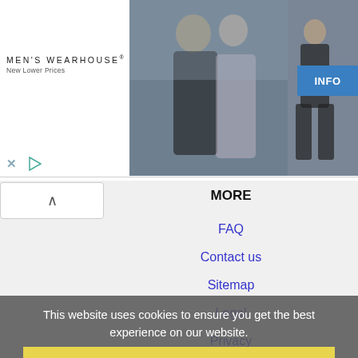[Figure (screenshot): Men's Wearhouse advertisement banner with couple in formalwear and INFO button]
MORE
FAQ
Contact us
Sitemap
Legal
Privacy
This website uses cookies to ensure you get the best experience on our website.
Learn more
NEARBY CITIES
Bartlett, TN Jobs
Memphis, TN Jobs
Southaven, MS Jobs
Got it!